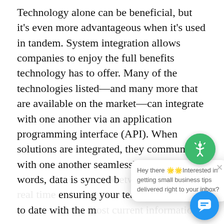Technology alone can be beneficial, but it's even more advantageous when it's used in tandem. System integration allows companies to enjoy the full benefits technology has to offer. Many of the technologies listed—and many more that are available on the market—can integrate with one another via an application programming interface (API). When solutions are integrated, they communicate with one another seamlessly. In other words, data is synced between systems in real time ensuring your team is always up to date with the most current information. At Dexcomm, our live call answering service integrates directly with field service platforms such as ServiceTitan to improve the call experience for customers, allow call operators to work more efficiently, and ensure seamless communication
[Figure (other): Chat widget popup overlay with green accessibility icon circle at top, white speech bubble showing 'Hey there 🌟 Interested in getting small business tips delivered right to your inbox?' with a close X button, and a blue chat button circle at the bottom right.]